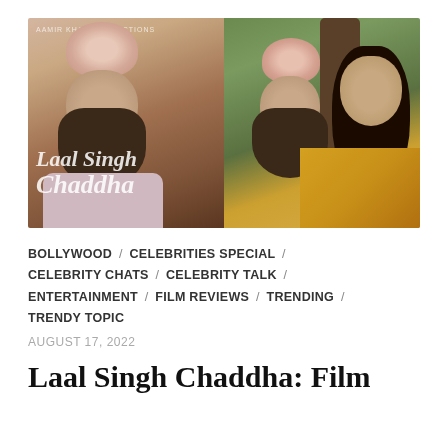[Figure (photo): Movie promotional image for Laal Singh Chaddha featuring Aamir Khan in a pink turban and beard on the left panel, and Aamir Khan with Kareena Kapoor on the right panel. Text 'Laal Singh Chaddha' in script font is overlaid on the left image.]
BOLLYWOOD / CELEBRITIES SPECIAL / CELEBRITY CHATS / CELEBRITY TALK / ENTERTAINMENT / FILM REVIEWS / TRENDING / TRENDY TOPIC
AUGUST 17, 2022
Laal Singh Chaddha: Film